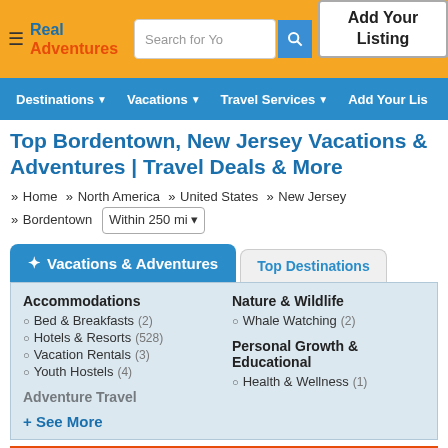Real Adventures — Search for You | Add Your Listing
Destinations | Vacations | Travel Services | Add Your Lis
Top Bordentown, New Jersey Vacations & Adventures | Travel Deals & More
» Home » North America » United States » New Jersey » Bordentown  Within 250 mi
✦ Vacations & Adventures
Top Destinations
Accommodations
Bed & Breakfasts (2)
Hotels & Resorts (528)
Vacation Rentals (3)
Youth Hostels (4)
Adventure Travel
Nature & Wildlife
Whale Watching (2)
Personal Growth & Educational
Health & Wellness (1)
+ See More